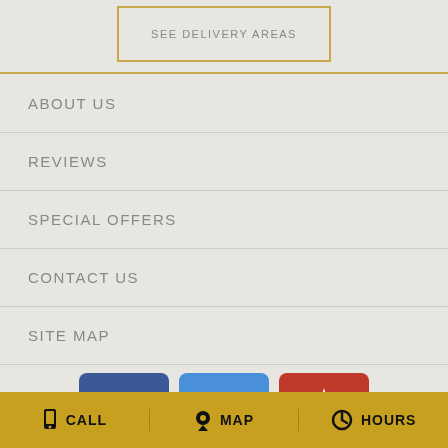SEE DELIVERY AREAS
ABOUT US
REVIEWS
SPECIAL OFFERS
CONTACT US
SITE MAP
[Figure (logo): Facebook logo icon — blue square with white 'f']
[Figure (logo): Google My Business logo icon — blue/white store front with G]
[Figure (logo): Yelp logo icon — red square with white Yelp burst symbol]
CALL   MAP   HOURS